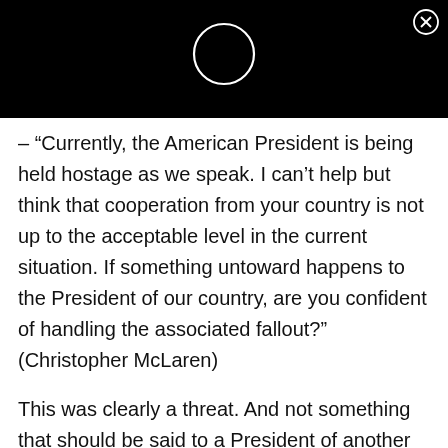[Figure (illustration): Black header bar with a white circle outline icon centered in it, and a close (X) button in the top-right corner]
– “Currently, the American President is being held hostage as we speak. I can’t help but think that cooperation from your country is not up to the acceptable level in the current situation. If something untoward happens to the President of our country, are you confident of handling the associated fallout?” (Christopher McLaren)
This was clearly a threat. And not something that should be said to a President of another